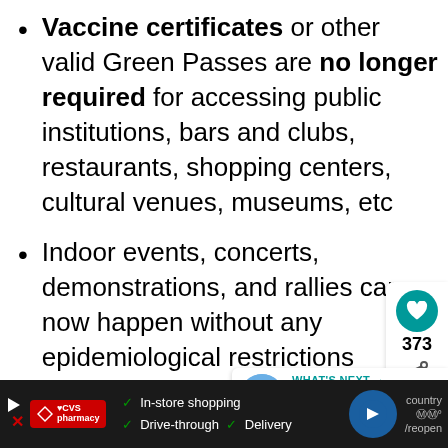Vaccine certificates or other valid Green Passes are no longer required for accessing public institutions, bars and clubs, restaurants, shopping centers, cultural venues, museums, etc
Indoor events, concerts, demonstrations, and rallies can now happen without any epidemiological restrictions
The hospitality sector will no longer need observe a nightly curfew
All border crossing points that had been
[Figure (other): Social sidebar with heart/like button showing 373 likes and a share icon]
[Figure (other): What's Next widget showing a city photo and text 'Slovakia Becomes Th...']
[Figure (other): CVS Pharmacy advertisement banner at the bottom showing In-store shopping, Drive-through, and Delivery options]